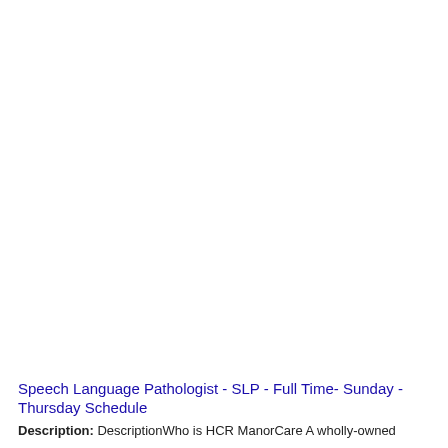Speech Language Pathologist - SLP - Full Time- Sunday - Thursday Schedule
Description: DescriptionWho is HCR ManorCare A wholly-owned